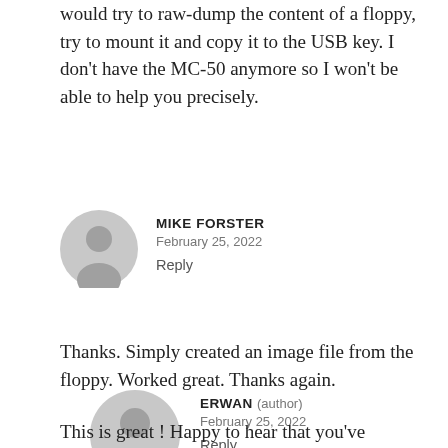would try to raw-dump the content of a floppy, try to mount it and copy it to the USB key. I don't have the MC-50 anymore so I won't be able to help you precisely.
MIKE FORSTER
February 25, 2022
Reply
Thanks. Simply created an image file from the floppy. Worked great. Thanks again.
ERWAN (author)
February 25, 2022
Reply
This is great ! Happy to hear that you've